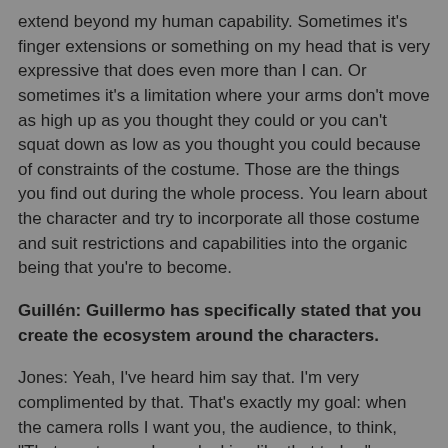extend beyond my human capability. Sometimes it's finger extensions or something on my head that is very expressive that does even more than I can. Or sometimes it's a limitation where your arms don't move as high up as you thought they could or you can't squat down as low as you thought you could because of constraints of the costume. Those are the things you find out during the whole process. You learn about the character and try to incorporate all those costume and suit restrictions and capabilities into the organic being that you're to become.
Guillén: Guillermo has specifically stated that you create the ecosystem around the characters.
Jones: Yeah, I've heard him say that. I'm very complimented by that. That's exactly my goal: when the camera rolls I want you, the audience, to think, "That creature woke up looking like that today."
Guillén: I've been blessed to have had the chance to sit down and talk with Guillermo and have actually seen his diary sketchbooks so I know exactly what you must